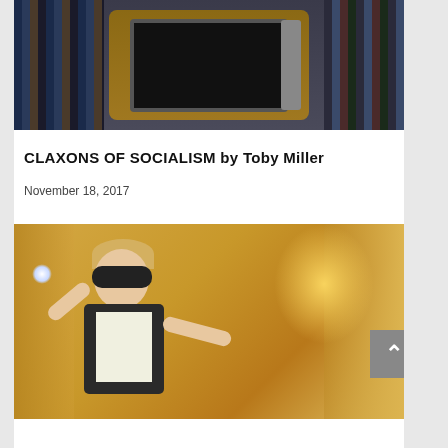[Figure (photo): Photo of a retro television set on a shelf surrounded by VHS tapes]
CLAXONS OF SOCIALISM by Toby Miller
November 18, 2017
[Figure (photo): Photo of a person wearing goggles and holding a sparkling device, dressed in costume against a shimmery gold curtain backdrop]
'ALL THIS FIZZING INSIDE': WATCHING THE RETURN OF DOCTOR WHO by Juan Phillips